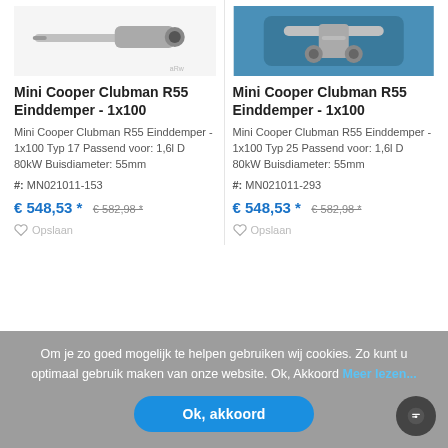[Figure (photo): Product photo of Mini Cooper Clubman R55 Einddemper exhaust component on white background]
[Figure (photo): Product photo of Mini Cooper Clubman R55 Einddemper exhaust system undercarriage view]
Mini Cooper Clubman R55 Einddemper - 1x100
Mini Cooper Clubman R55 Einddemper - 1x100 Typ 17 Passend voor: 1,6l D 80kW Buisdiameter: 55mm
#: MN021011-153
€ 548,53 * € 582,98 *
Opslaan
Mini Cooper Clubman R55 Einddemper - 1x100
Mini Cooper Clubman R55 Einddemper - 1x100 Typ 25 Passend voor: 1,6l D 80kW Buisdiameter: 55mm
#: MN021011-293
€ 548,53 * € 582,98 *
Opslaan
Om je zo goed mogelijk te helpen gebruiken wij cookies. Zo kunt u optimaal gebruik maken van onze website. Ok, Akkoord Meer lezen...
Ok, akkoord